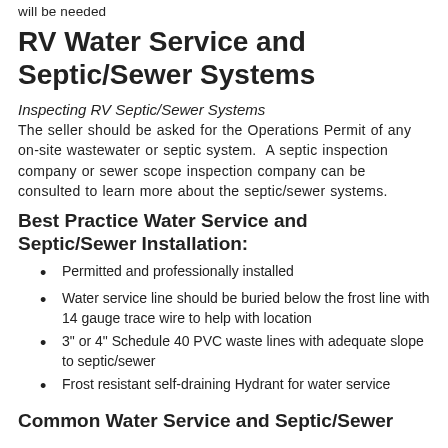will be needed
RV Water Service and Septic/Sewer Systems
Inspecting RV Septic/Sewer Systems
The seller should be asked for the Operations Permit of any on-site wastewater or septic system. A septic inspection company or sewer scope inspection company can be consulted to learn more about the septic/sewer systems.
Best Practice Water Service and Septic/Sewer Installation:
Permitted and professionally installed
Water service line should be buried below the frost line with 14 gauge trace wire to help with location
3" or 4" Schedule 40 PVC waste lines with adequate slope to septic/sewer
Frost resistant self-draining Hydrant for water service
Common Water Service and Septic/Sewer